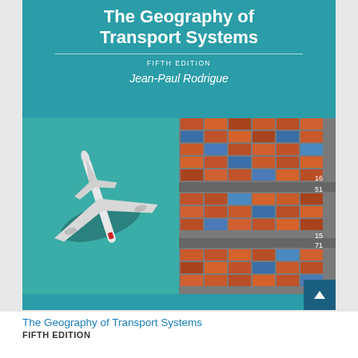The Geography of Transport Systems
FIFTH EDITION
Jean-Paul Rodrigue
[Figure (photo): Composite cover image: left half shows aerial view of a white commercial airplane flying over teal/turquoise water with its shadow visible below; right half shows aerial view of a shipping container port with rows of colorful red, orange, and blue stacked containers and dock infrastructure]
The Geography of Transport Systems
FIFTH EDITION